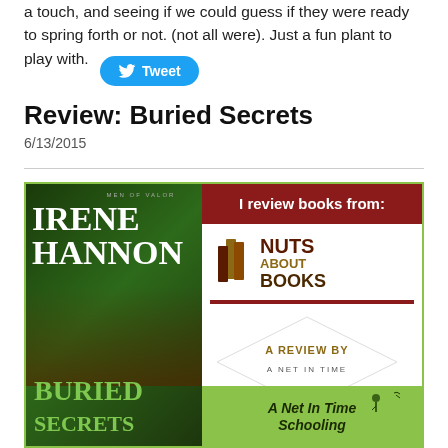a touch, and seeing if we could guess if they were ready to spring forth or not.  (not all were).   Just a fun plant to play with.
[Figure (other): Twitter Tweet button with bird icon]
Review: Buried Secrets
6/13/2015
[Figure (other): Composite image showing book cover of 'Buried Secrets' by Irene Hannon (Men of Valor series) on the left, and a 'Nuts About Books' reviewer badge with 'A Review By A Net In Time' diamond overlay on the right, with green border and 'A Net In Time Schooling' text at bottom right.]